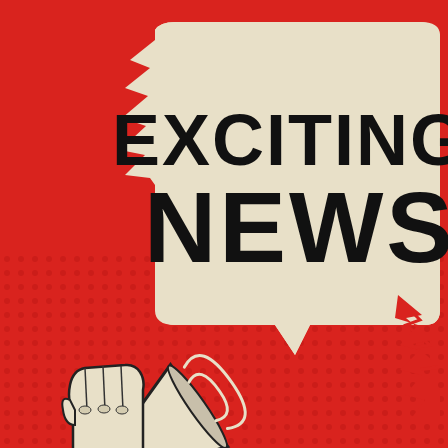[Figure (illustration): Retro-style illustration on a red background. A hand holding a megaphone points to the right. A large speech bubble in cream/beige with jagged lightning-bolt edges contains bold black text reading 'EXCITING NEWS'. The background is red with a subtle dot pattern in the lower half. Decorative zigzag/lightning bolt accents appear on the left edge and lower right of the speech bubble.]